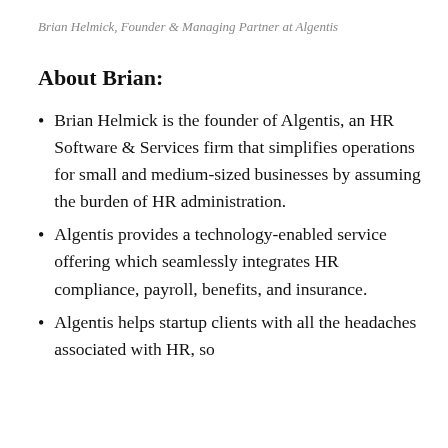Brian Helmick, Founder & Managing Partner at Algentis
About Brian:
Brian Helmick is the founder of Algentis, an HR Software & Services firm that simplifies operations for small and medium-sized businesses by assuming the burden of HR administration.
Algentis provides a technology-enabled service offering which seamlessly integrates HR compliance, payroll, benefits, and insurance.
Algentis helps startup clients with all the headaches associated with HR, so